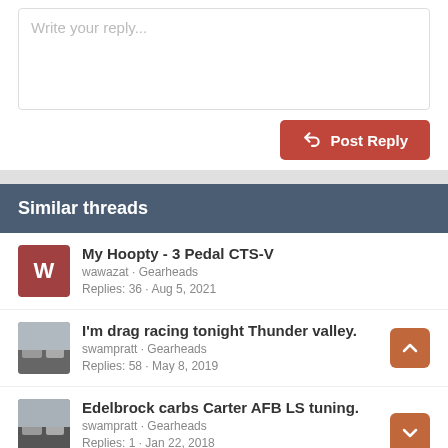Write your reply...
Post Reply
Similar threads
My Hoopty - 3 Pedal CTS-V
wawazat · Gearheads
Replies: 36 · Aug 5, 2021
I'm drag racing tonight Thunder valley.
swampratt · Gearheads
Replies: 58 · May 8, 2019
Edelbrock carbs Carter AFB LS tuning.
swampratt · Gearheads
Replies: 1 · Jan 22, 2018